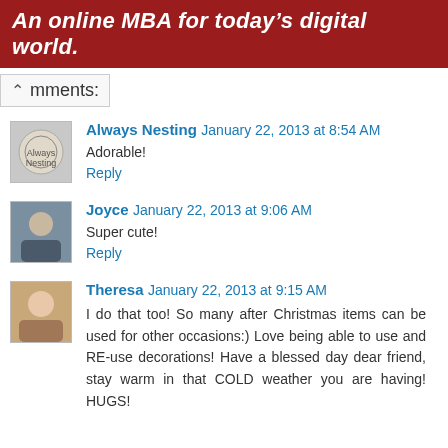An online MBA for today's digital world.
mments:
Always Nesting January 22, 2013 at 8:54 AM
Adorable!
Reply
Joyce January 22, 2013 at 9:06 AM
Super cute!
Reply
Theresa January 22, 2013 at 9:15 AM
I do that too! So many after Christmas items can be used for other occasions:) Love being able to use and RE-use decorations! Have a blessed day dear friend, stay warm in that COLD weather you are having! HUGS!